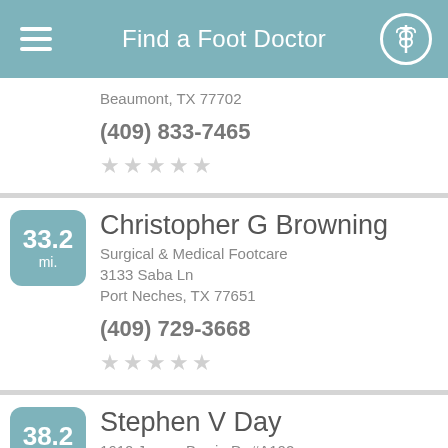Find a Foot Doctor
Beaumont, TX 77702
(409) 833-7465
Christopher G Browning
Surgical & Medical Footcare
3133 Saba Ln
Port Neches, TX 77651
(409) 729-3668
Stephen V Day
1610 James Bowie Dr #A102
Baytown, TX 77520